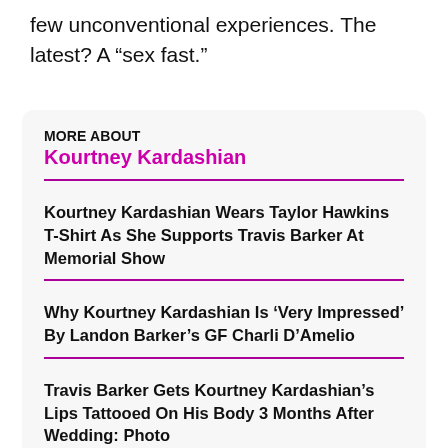few unconventional experiences. The latest? A “sex fast.”
MORE ABOUT
Kourtney Kardashian
Kourtney Kardashian Wears Taylor Hawkins T-Shirt As She Supports Travis Barker At Memorial Show
Why Kourtney Kardashian Is ‘Very Impressed’ By Landon Barker’s GF Charli D’Amelio
Travis Barker Gets Kourtney Kardashian’s Lips Tattooed On His Body 3 Months After Wedding: Photo